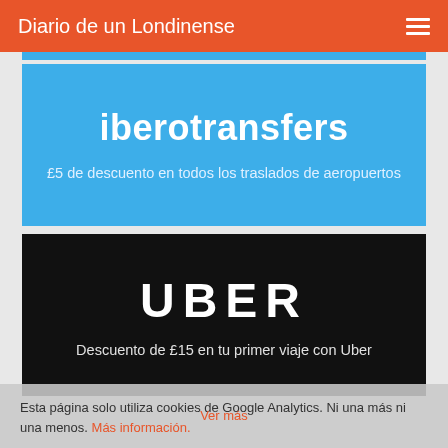Diario de un Londinense
[Figure (other): iberotransfers advertisement banner — blue background, bold white text 'iberotransfers' with subtitle '£5 de descuento en todos los traslados de aeropuertos']
[Figure (other): Uber advertisement banner — black background, large white bold text 'UBER' with subtitle 'Descuento de £15 en tu primer viaje con Uber']
Esta página solo utiliza cookies de Google Analytics. Ni una más ni una menos. Más información.
Ver más
Acepto